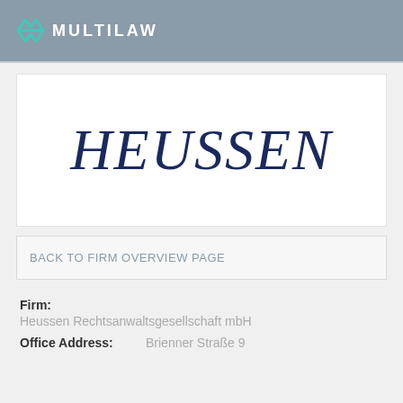MULTILAW
[Figure (logo): HEUSSEN law firm logo in dark navy italic serif font on white background]
BACK TO FIRM OVERVIEW PAGE
Firm:
Heussen Rechtsanwaltsgesellschaft mbH
Office Address:  Brienner Straße 9